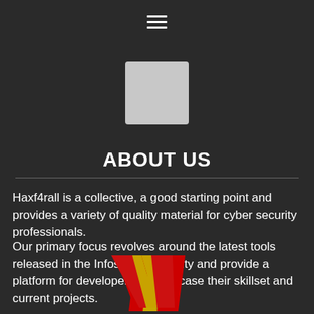[Figure (other): Hamburger menu icon (three horizontal lines) centered at top]
[Figure (other): Light gray square logo placeholder centered below menu icon]
ABOUT US
Haxf4rall is a collective, a good starting point and provides a variety of quality material for cyber security professionals.
Our primary focus revolves around the latest tools released in the Infosec community and provide a platform for developers to showcase their skillset and current projects.
[Figure (logo): Red and gold W-shaped logo (Haxf4rall brand mark) partially visible at bottom center]